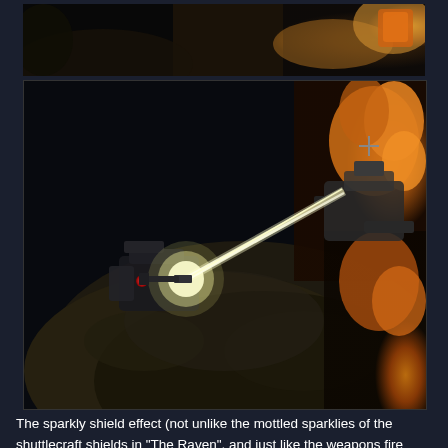[Figure (screenshot): Top partial screenshot showing a dark scene with orange/yellow glowing effect, appears to be a spacecraft or space scene from a TV show or game]
[Figure (screenshot): Main screenshot showing a spacecraft firing a beam weapon (bright white/yellow beam) at an asteroid or rocky surface, with orange fire/glow effects. Dark space background with mechanical craft visible on the right side.]
The sparkly shield effect (not unlike the mottled sparklies of the shuttlecraft shields in "The Raven", and just like the weapons fire dissipation effect on the weapons platforms) is quite visible in this impact scene, and was also visible in the weapons fire against the asteroid.  This suggests that, in reference to the BoP-platform collision, either the impact was between ship and shield with no damage to the platform (with the shield impact glow presumably